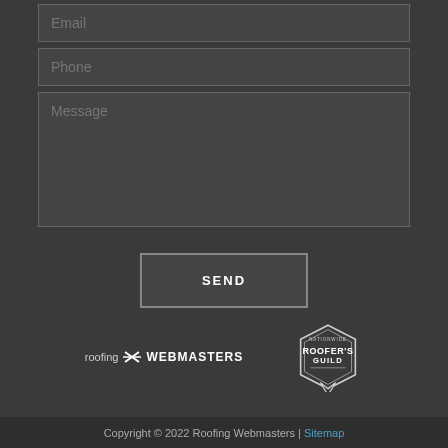[Figure (screenshot): Contact form fields: Email input, Phone input, Message textarea, and SEND button on dark background]
[Figure (logo): Roofing Webmasters logo with stylized X icon]
[Figure (logo): Nationwide Roofer's Guild badge/seal logo in hexagonal shape]
Copyright © 2022 Roofing Webmasters | Sitemap